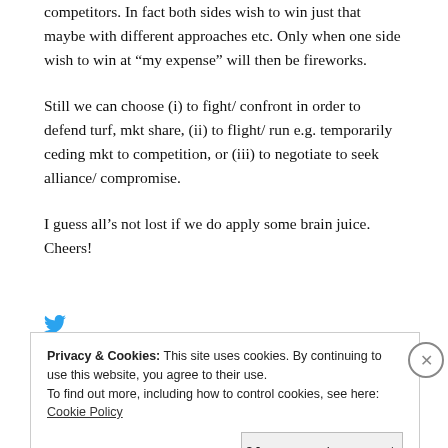competitors. In fact both sides wish to win just that maybe with different approaches etc. Only when one side wish to win at “my expense” will then be fireworks.
Still we can choose (i) to fight/ confront in order to defend turf, mkt share, (ii) to flight/ run e.g. temporarily ceding mkt to competition, or (iii) to negotiate to seek alliance/ compromise.
I guess all’s not lost if we do apply some brain juice. Cheers!
Privacy & Cookies: This site uses cookies. By continuing to use this website, you agree to their use. To find out more, including how to control cookies, see here: Cookie Policy
Close and accept